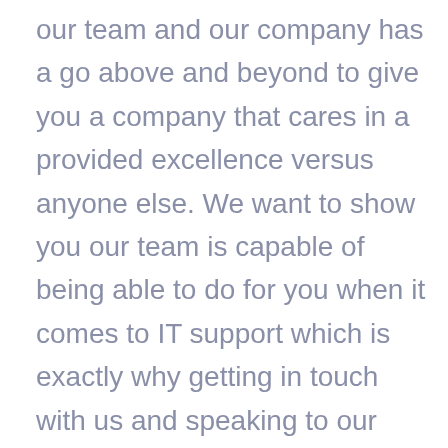our team and our company has a go above and beyond to give you a company that cares in a provided excellence versus anyone else. We want to show you our team is capable of being able to do for you when it comes to IT support which is exactly why getting in touch with us and speaking to our team about the different services that our company and our professionals can offer to is going to provide you with the excellent service and ideas for that you have been longing for and looking for all of the places but were not able to get into coming to our company because we're the professionals that actually know are doing.Once you decide that you're looking for IT support Central London